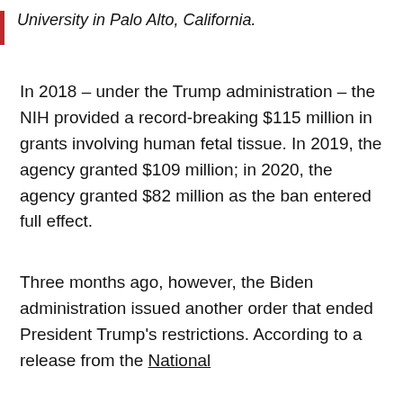University in Palo Alto, California.
In 2018 – under the Trump administration – the NIH provided a record-breaking $115 million in grants involving human fetal tissue. In 2019, the agency granted $109 million; in 2020, the agency granted $82 million as the ban entered full effect.
Three months ago, however, the Biden administration issued another order that ended President Trump's restrictions. According to a release from the National